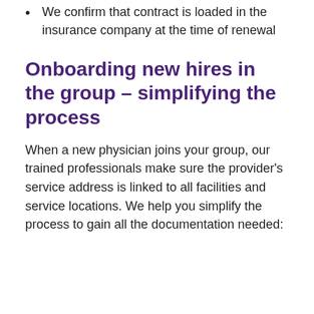We confirm that contract is loaded in the insurance company at the time of renewal
Onboarding new hires in the group – simplifying the process
When a new physician joins your group, our trained professionals make sure the provider's service address is linked to all facilities and service locations. We help you simplify the process to gain all the documentation needed: